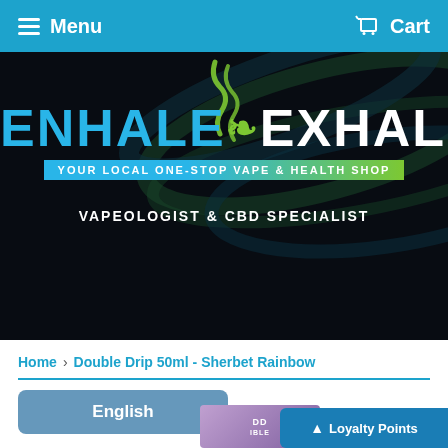Menu   Cart
[Figure (logo): Enhale Exhale logo on dark background with smoke graphic. Text: ENHALE EXHALE YOUR LOCAL ONE-STOP VAPE & HEALTH SHOP. Subtitle: VAPEOLOGIST & CBD SPECIALIST]
Home › Double Drip 50ml - Sherbet Rainbow
English
Loyalty Points